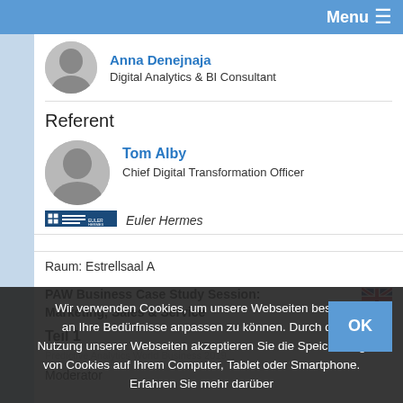Menu ≡
Anna Denejnaja
Digital Analytics & BI Consultant
Referent
Tom Alby
Chief Digital Transformation Officer
Euler Hermes
[Figure (logo): Euler Hermes company logo]
Raum: Estrellsaal A
PAW Business Case Study Session: Marketing, Sales & Service
[Figure (illustration): UK flag icon]
Teil 1
Wir verwenden Cookies, um unsere Webseiten besser an Ihre Bedürfnisse anpassen zu können. Durch die Nutzung unserer Webseiten akzeptieren Sie die Speicherung von Cookies auf Ihrem Computer, Tablet oder Smartphone. Erfahren Sie mehr darüber
Moderator